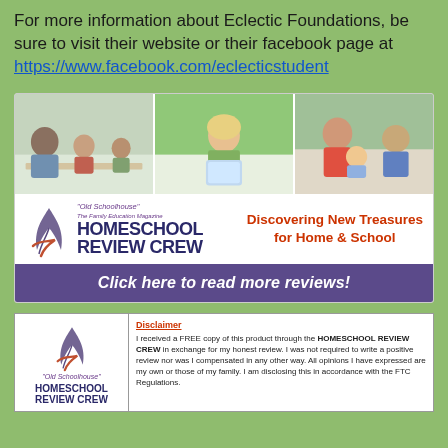For more information about Eclectic Foundations, be sure to visit their website or their facebook page at https://www.facebook.com/eclecticstudent
[Figure (illustration): Homeschool Review Crew banner with three photos of families learning together, logo with feather quill, text 'HOMESCHOOL REVIEW CREW' and 'Discovering New Treasures for Home & School', and purple bar reading 'Click here to read more reviews!']
[Figure (illustration): Disclaimer box with Homeschool Review Crew logo on left and disclaimer text on right: 'Disclaimer - I received a FREE copy of this product through the HOMESCHOOL REVIEW CREW in exchange for my honest review. I was not required to write a positive review nor was I compensated in any other way. All opinions I have expressed are my own or those of my family. I am disclosing this in accordance with the FTC Regulations.']